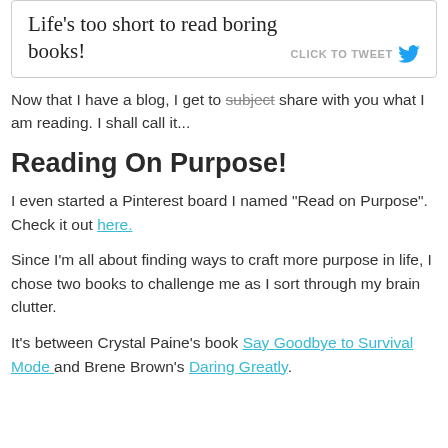[Figure (other): Tweet quote box with text 'Life's too short to read boring books!' and a 'CLICK TO TWEET' button with Twitter bird icon]
Now that I have a blog, I get to subject share with you what I am reading. I shall call it...
Reading On Purpose!
I even started a Pinterest board I named "Read on Purpose".  Check it out here.
Since I'm all about finding ways to craft more purpose in life, I chose two books to challenge me as I sort through my brain clutter.
It's between Crystal Paine's book Say Goodbye to Survival Mode  and Brene Brown's Daring Greatly.